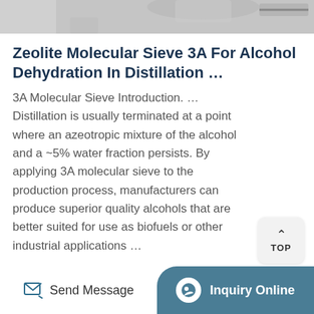[Figure (photo): Product photo showing laboratory/distillation glassware equipment at the top of the card]
Zeolite Molecular Sieve 3A For Alcohol Dehydration In Distillation …
3A Molecular Sieve Introduction. … Distillation is usually terminated at a point where an azeotropic mixture of the alcohol and a ~5% water fraction persists. By applying 3A molecular sieve to the production process, manufacturers can produce superior quality alcohols that are better suited for use as biofuels or other industrial applications …
Get Price →
Send Message
Inquiry Online